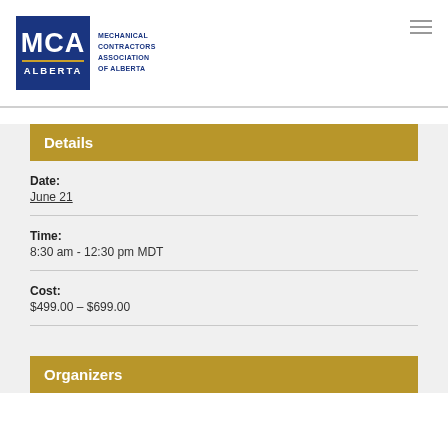[Figure (logo): MCA Alberta - Mechanical Contractors Association of Alberta logo with blue square and gold divider bar]
Details
Date:
June 21
Time:
8:30 am - 12:30 pm MDT
Cost:
$499.00 – $699.00
Organizers